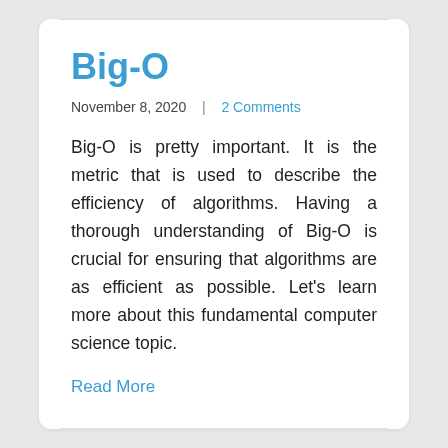Big-O
November 8, 2020  |  2 Comments
Big-O is pretty important. It is the metric that is used to describe the efficiency of algorithms. Having a thorough understanding of Big-O is crucial for ensuring that algorithms are as efficient as possible. Let's learn more about this fundamental computer science topic.
Read More